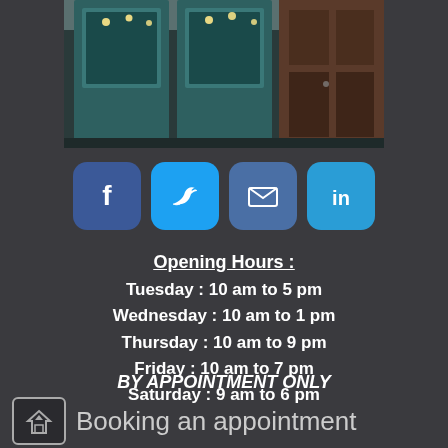[Figure (photo): Storefront with teal/dark blue painted wooden doors and large windows, warm interior lighting visible through glass]
[Figure (infographic): Four social media icon buttons: Facebook (dark blue), Twitter (light blue), Email (medium blue envelope), LinkedIn (light blue)]
Opening Hours :
Tuesday : 10 am to 5 pm
Wednesday : 10 am to 1 pm
Thursday : 10 am to 9 pm
Friday : 10 am to 7 pm
Saturday : 9 am to 6 pm
BY APPOINTMENT ONLY
Booking an appointment